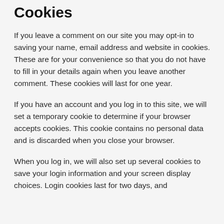Cookies
If you leave a comment on our site you may opt-in to saving your name, email address and website in cookies. These are for your convenience so that you do not have to fill in your details again when you leave another comment. These cookies will last for one year.
If you have an account and you log in to this site, we will set a temporary cookie to determine if your browser accepts cookies. This cookie contains no personal data and is discarded when you close your browser.
When you log in, we will also set up several cookies to save your login information and your screen display choices. Login cookies last for two days, and